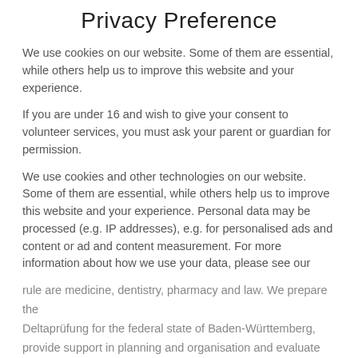Privacy Preference
We use cookies on our website. Some of them are essential, while others help us to improve this website and your experience.
If you are under 16 and wish to give your consent to volunteer services, you must ask your parent or guardian for permission.
We use cookies and other technologies on our website. Some of them are essential, while others help us to improve this website and your experience. Personal data may be processed (e.g. IP addresses), e.g. for personalised ads and content or ad and content measurement. For more information about how we use your data, please see our Privacy Policy. Sie können Ihre Auswahl jederzeit unter Einstellungen widerrufen oder anpassen.
Essential
Essential cookies enable basic functions and are necessary for the proper functioning of the website.
rule are medicine, dentistry, pharmacy and law. We prepare the Deltaprüfung for the federal state of Baden-Württemberg, provide support in planning and organisation and evaluate